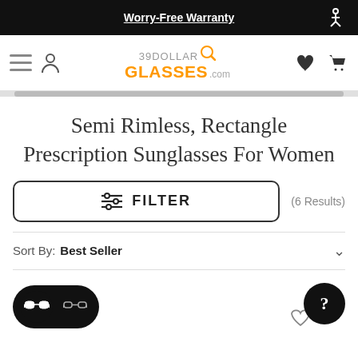Worry-Free Warranty
[Figure (screenshot): 39DollarGlasses.com website navigation bar with hamburger menu, user icon, logo, heart icon, and cart icon]
Semi Rimless, Rectangle Prescription Sunglasses For Women
FILTER (6 Results)
Sort By: Best Seller
[Figure (screenshot): View toggle buttons showing grid and list view icons, plus a help/chat button and heart icon]